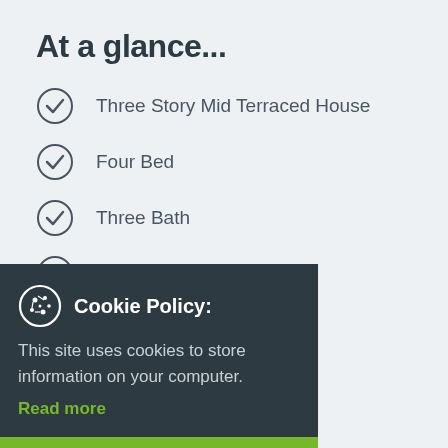At a glance...
Three Story Mid Terraced House
Four Bed
Three Bath
...qm
...g
...dows
...perty
Cookie Policy: This site uses cookies to store information on your computer. Read more
I AGREE